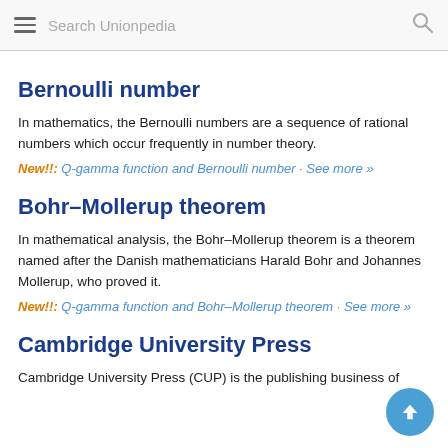Search Unionpedia
Bernoulli number
In mathematics, the Bernoulli numbers are a sequence of rational numbers which occur frequently in number theory.
New!!: Q-gamma function and Bernoulli number · See more »
Bohr–Mollerup theorem
In mathematical analysis, the Bohr–Mollerup theorem is a theorem named after the Danish mathematicians Harald Bohr and Johannes Mollerup, who proved it.
New!!: Q-gamma function and Bohr–Mollerup theorem · See more »
Cambridge University Press
Cambridge University Press (CUP) is the publishing business of